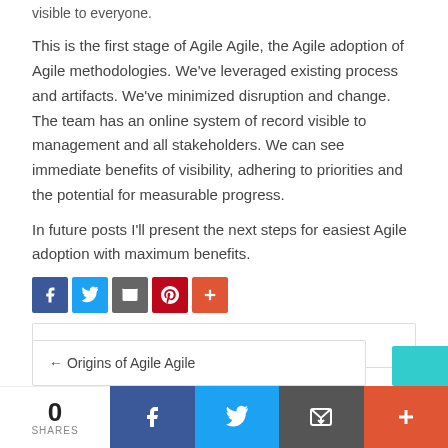visible to everyone.
This is the first stage of Agile Agile, the Agile adoption of Agile methodologies. We've leveraged existing process and artifacts. We've minimized disruption and change. The team has an online system of record visible to management and all stakeholders. We can see immediate benefits of visibility, adhering to priorities and the potential for measurable progress.
In future posts I'll present the next steps for easiest Agile adoption with maximum benefits.
[Figure (infographic): Social share buttons: Facebook (blue), Twitter (light blue), Google/email (grey), Pinterest (red), More (red with plus)]
Peter   October 17, 2017   Agile, Software
← Origins of Agile Agile
0 SHARES
[Figure (infographic): Bottom social share bar with 0 SHARES, Facebook, Twitter, Email, and More buttons]